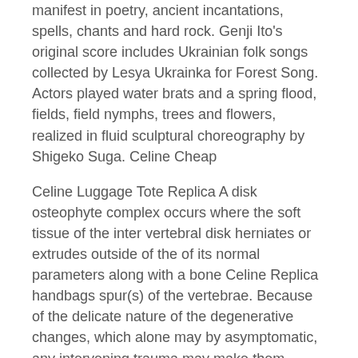manifest in poetry, ancient incantations, spells, chants and hard rock. Genji Ito's original score includes Ukrainian folk songs collected by Lesya Ukrainka for Forest Song. Actors played water brats and a spring flood, fields, field nymphs, trees and flowers, realized in fluid sculptural choreography by Shigeko Suga. Celine Cheap
Celine Luggage Tote Replica A disk osteophyte complex occurs where the soft tissue of the inter vertebral disk herniates or extrudes outside of the of its normal parameters along with a bone Celine Replica handbags spur(s) of the vertebrae. Because of the delicate nature of the degenerative changes, which alone may by asymptomatic, any intervening trauma may make them symptomatic due any combination of the spur or disk protrusion. Pain and numbness may occur because of the combination of the disk and the osteophyte (or “disk osteophyte complex”) impinging on the nerve root system, or